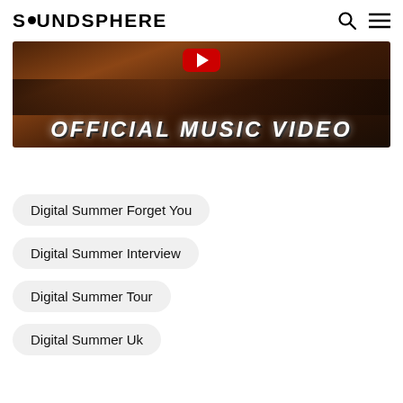SOUNDSPHERE
[Figure (screenshot): Official Music Video thumbnail with dark background showing 'OFFICIAL MUSIC VIDEO' text and a red YouTube play button]
Digital Summer Forget You
Digital Summer Interview
Digital Summer Tour
Digital Summer Uk